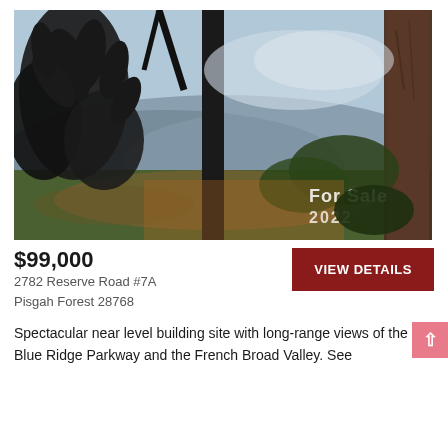[Figure (photo): Outdoor scenic photo of a mountain view through trees and dark foliage, with silhouettes of large leaves and tree trunks in the foreground. Blue Ridge mountains visible in the background. Watermark text reads 'For Sale' and '2022' in the lower right corner.]
$99,000
VIEW DETAILS
2782 Reserve Road #7A
Pisgah Forest 28768
Spectacular near level building site with long-range views of the Blue Ridge Parkway and the French Broad Valley. See